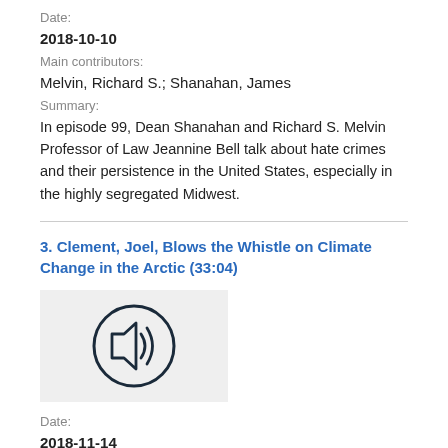Date:
2018-10-10
Main contributors:
Melvin, Richard S.; Shanahan, James
Summary:
In episode 99, Dean Shanahan and Richard S. Melvin Professor of Law Jeannine Bell talk about hate crimes and their persistence in the United States, especially in the highly segregated Midwest.
3. Clement, Joel, Blows the Whistle on Climate Change in the Arctic (33:04)
[Figure (other): Audio thumbnail with speaker/sound icon on grey background]
Date:
2018-11-14
Main contributors:
Clement, Joel; Shanahan, James
Summary: